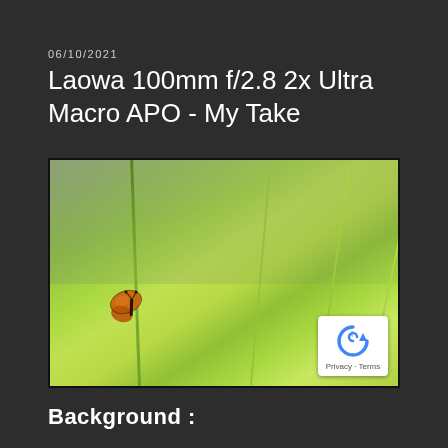06/10/2021
Laowa 100mm f/2.8 2x Ultra Macro APO - My Take
[Figure (photo): Macro photograph of a small orange skipper butterfly clinging to a green grass blade, with blurred green grass background and bokeh effect]
Background :